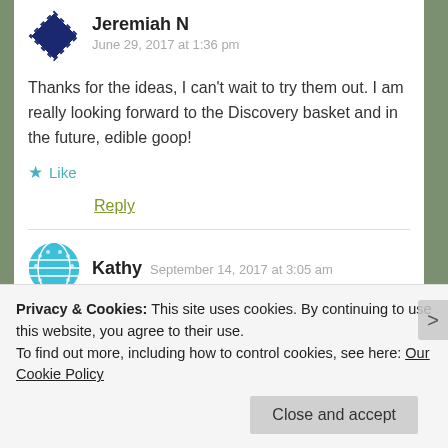Jeremiah N
June 29, 2017 at 1:36 pm
Thanks for the ideas, I can't wait to try them out. I am really looking forward to the Discovery basket and in the future, edible goop!
Like
Reply
Kathy   September 14, 2017 at 3:05 am
Privacy & Cookies: This site uses cookies. By continuing to use this website, you agree to their use.
To find out more, including how to control cookies, see here: Our Cookie Policy
Close and accept